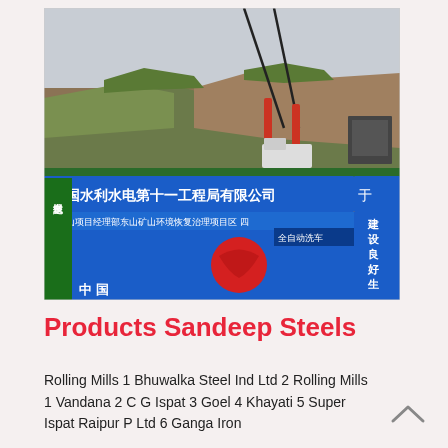[Figure (photo): Photograph of a Chinese construction site showing a large blue sign with Chinese characters reading '中国水利水电第十一工程局有限公司' (China Water and Power Engineering Bureau Co., Ltd.), with a rocky hillside in the background and construction machinery visible.]
Products Sandeep Steels
Rolling Mills 1 Bhuwalka Steel Ind Ltd 2 Rolling Mills 1 Vandana 2 C G Ispat 3 Goel 4 Khayati 5 Super Ispat Raipur P Ltd 6 Ganga Iron